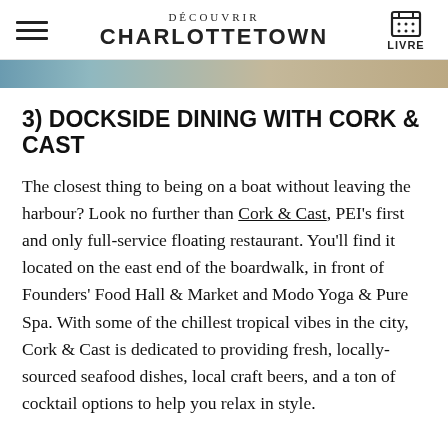DÉCOUVRIR CHARLOTTETOWN | LIVRE
[Figure (photo): Partial photo strip visible at top of page, showing a food/harbour scene]
3) DOCKSIDE DINING WITH CORK & CAST
The closest thing to being on a boat without leaving the harbour? Look no further than Cork & Cast, PEI's first and only full-service floating restaurant. You'll find it located on the east end of the boardwalk, in front of Founders' Food Hall & Market and Modo Yoga & Pure Spa. With some of the chillest tropical vibes in the city, Cork & Cast is dedicated to providing fresh, locally-sourced seafood dishes, local craft beers, and a ton of cocktail options to help you relax in style.